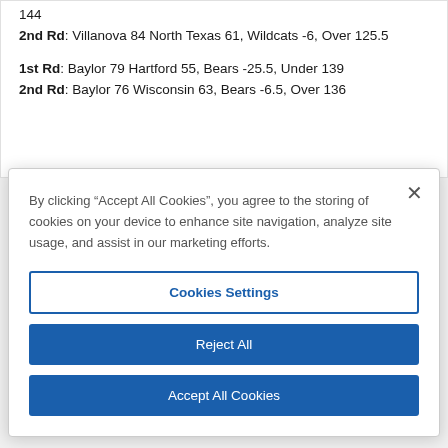144
2nd Rd: Villanova 84 North Texas 61, Wildcats -6, Over 125.5

1st Rd: Baylor 79 Hartford 55, Bears -25.5, Under 139
2nd Rd: Baylor 76 Wisconsin 63, Bears -6.5, Over 136
By clicking "Accept All Cookies", you agree to the storing of cookies on your device to enhance site navigation, analyze site usage, and assist in our marketing efforts.
Cookies Settings
Reject All
Accept All Cookies